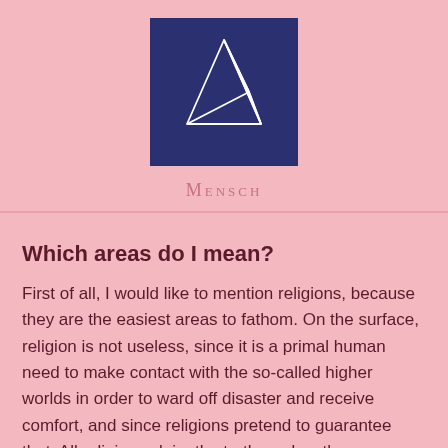[Figure (logo): Dark navy blue square containing a white line-art geometric pyramid/tetrahedron shape]
Mensch
Which areas do I mean?
First of all, I would like to mention religions, because they are the easiest areas to fathom. On the surface, religion is not useless, since it is a primal human need to make contact with the so-called higher worlds in order to ward off disaster and receive comfort, and since religions pretend to guarantee that. All religions claim the truth, and as they contradict each other, they clearly show that this is not true, but this does not bother the fearful believers. All religions that include the worshipping